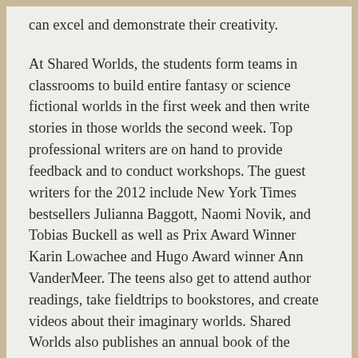can excel and demonstrate their creativity.
At Shared Worlds, the students form teams in classrooms to build entire fantasy or science fictional worlds in the first week and then write stories in those worlds the second week. Top professional writers are on hand to provide feedback and to conduct workshops. The guest writers for the 2012 include New York Times bestsellers Julianna Baggott, Naomi Novik, and Tobias Buckell as well as Prix Award Winner Karin Lowachee and Hugo Award winner Ann VanderMeer. The teens also get to attend author readings, take fieldtrips to bookstores, and create videos about their imaginary worlds. Shared Worlds also publishes an annual book of the students' writing.
“For many of our students, Shared Worlds is a